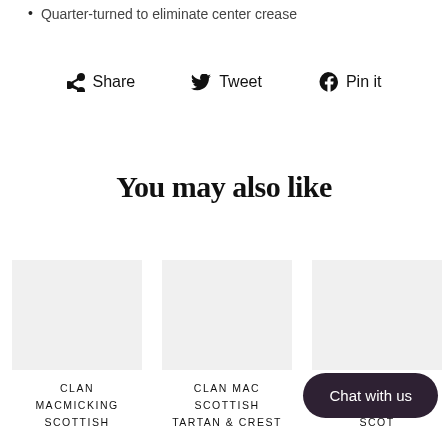Quarter-turned to eliminate center crease
Share  Tweet  Pin it
You may also like
CLAN MACMICKING SCOTTISH
CLAN MAC... SCOTTISH TARTAN & CREST
CLA... MACLE... SCOT...
Chat with us